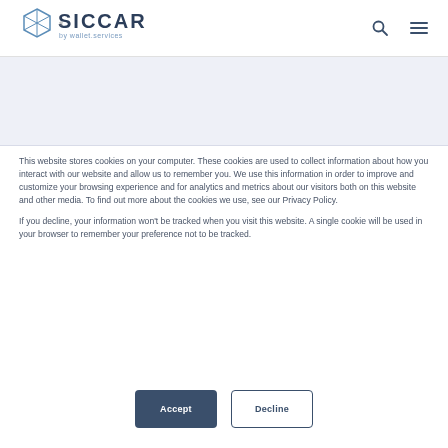[Figure (logo): SICCAR logo with hexagon icon and text 'SICCAR by wallet.services']
[Figure (other): Light blue-gray hero banner area]
This website stores cookies on your computer. These cookies are used to collect information about how you interact with our website and allow us to remember you. We use this information in order to improve and customize your browsing experience and for analytics and metrics about our visitors both on this website and other media. To find out more about the cookies we use, see our Privacy Policy.
If you decline, your information won't be tracked when you visit this website. A single cookie will be used in your browser to remember your preference not to be tracked.
Accept
Decline